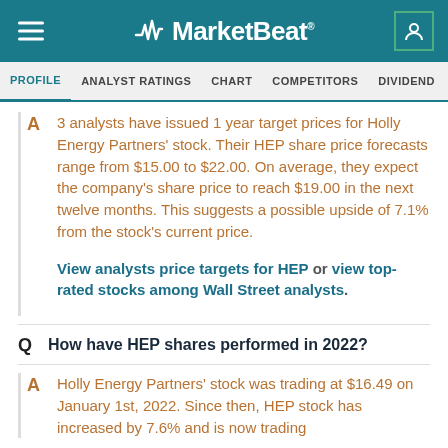MarketBeat
PROFILE  ANALYST RATINGS  CHART  COMPETITORS  DIVIDEND  EARNINGS>
3 analysts have issued 1 year target prices for Holly Energy Partners' stock. Their HEP share price forecasts range from $15.00 to $22.00. On average, they expect the company's share price to reach $19.00 in the next twelve months. This suggests a possible upside of 7.1% from the stock's current price. View analysts price targets for HEP or view top-rated stocks among Wall Street analysts.
Q  How have HEP shares performed in 2022?
A  Holly Energy Partners' stock was trading at $16.49 on January 1st, 2022. Since then, HEP stock has increased by 7.6% and is now trading